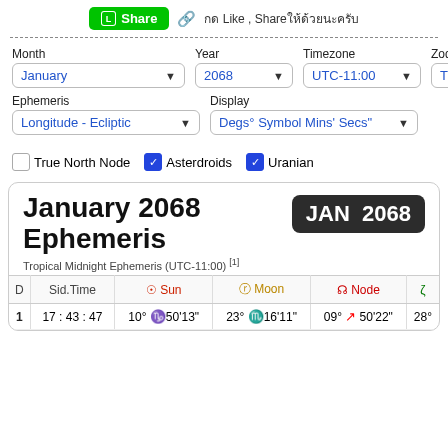Share  กด Like, Shareให้ด้วยนะครับ
Month: January | Year: 2068 | Timezone: UTC-11:00 | Zodiac: Tropical
Ephemeris: Longitude - Ecliptic | Display: Degs° Symbol Mins' Secs"
True North Node  Asterdroids  Uranian
January 2068 Ephemeris
Tropical Midnight Ephemeris (UTC-11:00) [1]
| D | Sid.Time | Sun | Moon | Node | ς |
| --- | --- | --- | --- | --- | --- |
| 1 | 17:43:47 | 10° ♑50'13" | 23° ♏16'11" | 09° ↗ 50'22" | 28° |